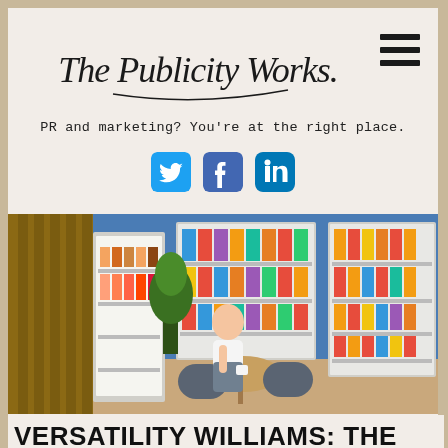The Publicity Works.
PR and marketing? You're at the right place.
[Figure (logo): Social media icons: Twitter (blue bird), Facebook (blue f), LinkedIn (blue in)]
[Figure (photo): Interior of a convenience store/micro-market with shelves stocked with snacks and drinks, a woman sitting at a small round table with chairs, wooden floor and blue accent wall]
VERSATILITY WILLIAMS: THE